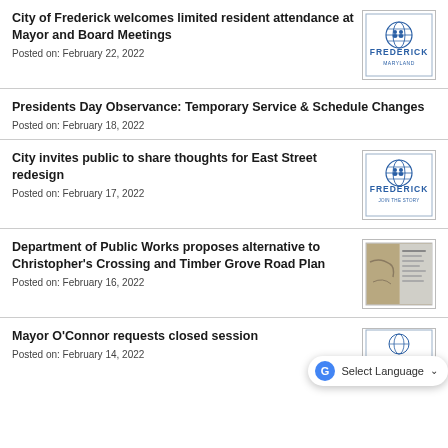City of Frederick welcomes limited resident attendance at Mayor and Board Meetings
Posted on: February 22, 2022
[Figure (logo): City of Frederick Maryland official logo with globe seal]
Presidents Day Observance: Temporary Service & Schedule Changes
Posted on: February 18, 2022
City invites public to share thoughts for East Street redesign
Posted on: February 17, 2022
[Figure (logo): City of Frederick Maryland logo - Join the Story]
Department of Public Works proposes alternative to Christopher's Crossing and Timber Grove Road Plan
Posted on: February 16, 2022
[Figure (photo): Document/map image related to Christopher's Crossing road plan]
Mayor O'Connor requests closed session
Posted on: February 14, 2022
[Figure (logo): City of Frederick Maryland logo (partial)]